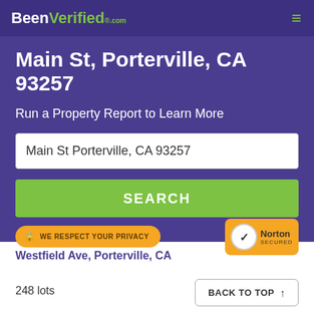BeenVerified.com
Main St, Porterville, CA 93257
Run a Property Report to Learn More
Main St Porterville, CA 93257
SEARCH
WE RESPECT YOUR PRIVACY
[Figure (logo): Norton Secured badge with checkmark]
Westfield Ave, Porterville, CA
248 lots
BACK TO TOP ↑